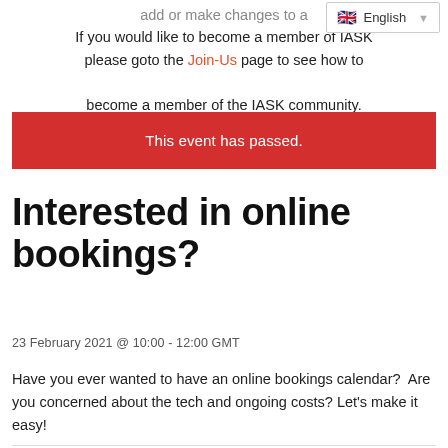add or make changes to a...
[Figure (screenshot): English language selector widget with UK flag]
If you would like to become a member of IASK please goto the Join-Us page to see how to become a member of the IASK community.
This event has passed.
Interested in online bookings?
23 February 2021 @ 10:00 - 12:00 GMT
Have you ever wanted to have an online bookings calendar?  Are you concerned about the tech and ongoing costs? Let's make it easy!